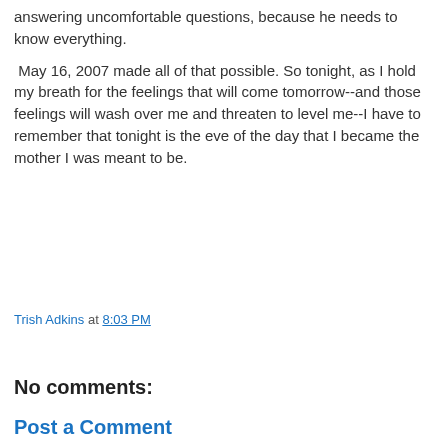answering uncomfortable questions, because he needs to know everything.
May 16, 2007 made all of that possible. So tonight, as I hold my breath for the feelings that will come tomorrow--and those feelings will wash over me and threaten to level me--I have to remember that tonight is the eve of the day that I became the mother I was meant to be.
Trish Adkins at 8:03 PM
Share
No comments:
Post a Comment